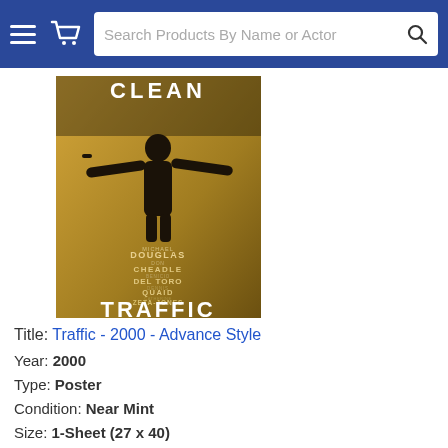Search Products By Name or Actor
[Figure (photo): Movie poster for Traffic (2000) - Advance Style. Shows a dark silhouetted figure with arms outstretched against a yellow background. Text reads CLEAN at top, cast credits including Michael Douglas, Don Cheadle, Benicio Del Toro, Dennis Quaid, Catherine Zeta-Jones, and TRAFFIC at bottom with DECEMBER.]
Title: Traffic - 2000 - Advance Style
Year: 2000
Type: Poster
Condition: Near Mint
Size: 1-Sheet (27 x 40)
Description: "NO ONE GETS AWAY CLEAN." Here is an original 1-Sheet movie poster from the 2000 crime drama film - "TRAFFIC" - starring Michael Douglas and Benicio Del Toro. This is the US Advance Style poster. It is an